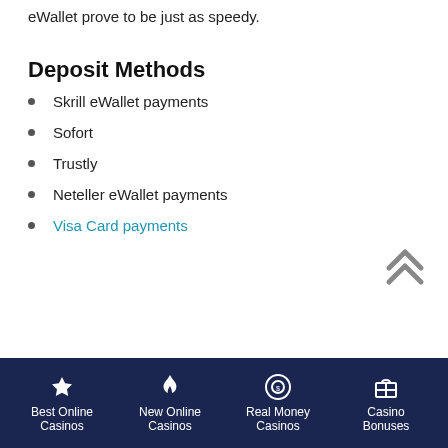eWallet prove to be just as speedy.
Deposit Methods
Skrill eWallet payments
Sofort
Trustly
Neteller eWallet payments
Visa Card payments
Best Online Casinos | New Online Casinos | Real Money Casinos | Casino Bonuses